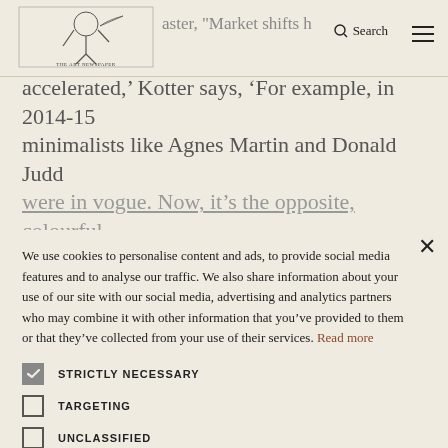[Figure (logo): The Art Newspaper logo — illustrated masthead with figure writing]
accelerated,' Kotter says, 'For example, in 2014-15 minimalists like Agnes Martin and Donald Judd were in vogue. Now, it's the opposite, colourful
We use cookies to personalise content and ads, to provide social media features and to analyse our traffic. We also share information about your use of our site with our social media, advertising and analytics partners who may combine it with other information that you've provided to them or that they've collected from your use of their services. Read more
STRICTLY NECESSARY
TARGETING
UNCLASSIFIED
ACCEPT ALL
DECLINE ALL
SHOW DETAILS